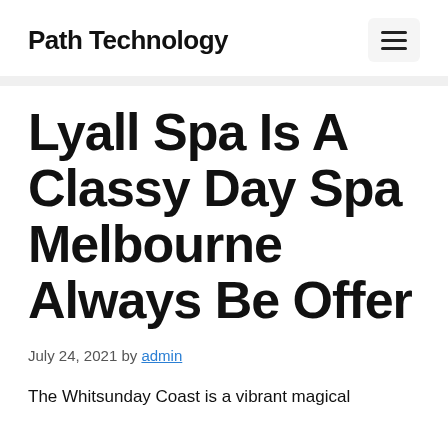Path Technology
Lyall Spa Is A Classy Day Spa Melbourne Always Be Offer
July 24, 2021 by admin
The Whitsunday Coast is a vibrant magical